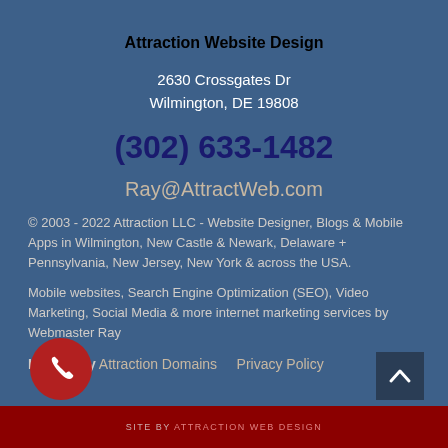Attraction Website Design
2630 Crossgates Dr
Wilmington, DE 19808
(302) 633-1482
Ray@AttractWeb.com
© 2003 - 2022 Attraction LLC - Website Designer, Blogs & Mobile Apps in Wilmington, New Castle & Newark, Delaware + Pennsylvania, New Jersey, New York & across the USA.
Mobile websites, Search Engine Optimization (SEO), Video Marketing, Social Media & more internet marketing services by Webmaster Ray
Hosted by Attraction Domains    Privacy Policy
SITE BY ATTRACTION WEB DESIGN